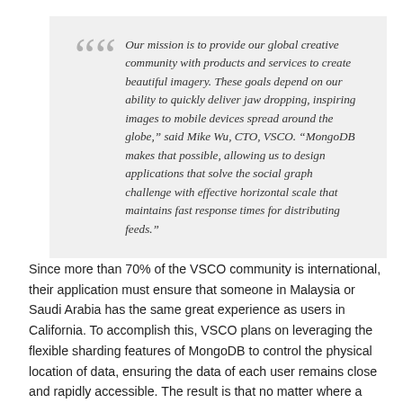“ Our mission is to provide our global creative community with products and services to create beautiful imagery. These goals depend on our ability to quickly deliver jaw dropping, inspiring images to mobile devices spread around the globe,” said Mike Wu, CTO, VSCO. “MongoDB makes that possible, allowing us to design applications that solve the social graph challenge with effective horizontal scale that maintains fast response times for distributing feeds.”
Since more than 70% of the VSCO community is international, their application must ensure that someone in Malaysia or Saudi Arabia has the same great experience as users in California. To accomplish this, VSCO plans on leveraging the flexible sharding features of MongoDB to control the physical location of data, ensuring the data of each user remains close and rapidly accessible. The result is that no matter where a user uploads their content, they can expect to